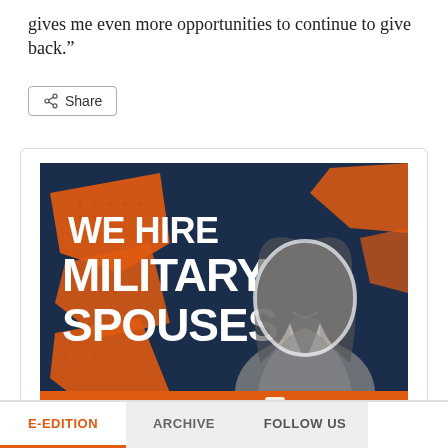gives me even more opportunities to continue to give back.”
[Figure (illustration): Advertisement for Commissionaires showing text 'WE HIRE MILITARY SPOUSES' in bold white letters on orange geometric background with dark blue, and a black-and-white photo of a smiling woman. Bottom bar shows militaryspouse.ca on the left and COMMISSIONAIRES logo on the right on an orange background.]
E-EDITION   ARCHIVE   FOLLOW US